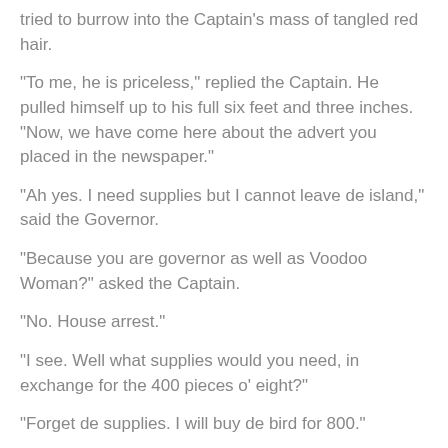tried to burrow into the Captain's mass of tangled red hair.
"To me, he is priceless," replied the Captain. He pulled himself up to his full six feet and three inches. "Now, we have come here about the advert you placed in the newspaper."
"Ah yes. I need supplies but I cannot leave de island," said the Governor.
"Because you are governor as well as Voodoo Woman?" asked the Captain.
"No. House arrest."
"I see. Well what supplies would you need, in exchange for the 400 pieces o' eight?"
"Forget de supplies. I will buy de bird for 800."
"He's not for sale."
"1000."